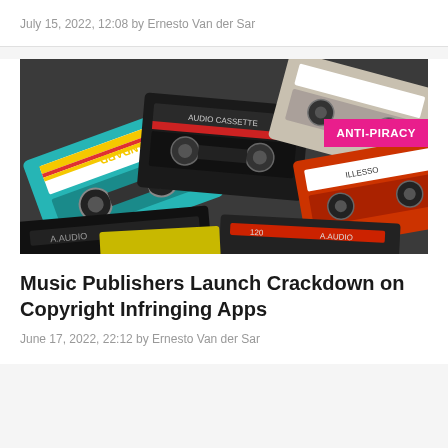July 15, 2022, 12:08 by Ernesto Van der Sar
[Figure (photo): A pile of colorful audio cassette tapes scattered together, with an 'ANTI-PIRACY' badge overlay in the top-right corner]
Music Publishers Launch Crackdown on Copyright Infringing Apps
June 17, 2022, 22:12 by Ernesto Van der Sar